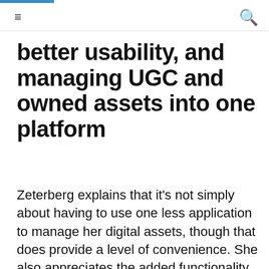≡  🔍
better usability, and managing UGC and owned assets into one platform
Zeterberg explains that it's not simply about having to use one less application to manage her digital assets, though that does provide a level of convenience. She also appreciates the added functionality and usability that CrowdRiff offered.